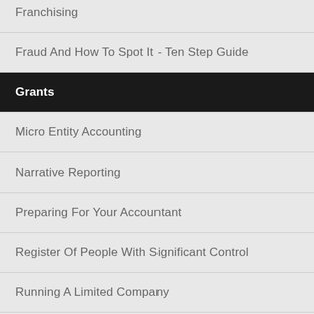Franchising
Fraud And How To Spot It - Ten Step Guide
Grants
Micro Entity Accounting
Narrative Reporting
Preparing For Your Accountant
Register Of People With Significant Control
Running A Limited Company
Securing Business Success
Small Company Accounting